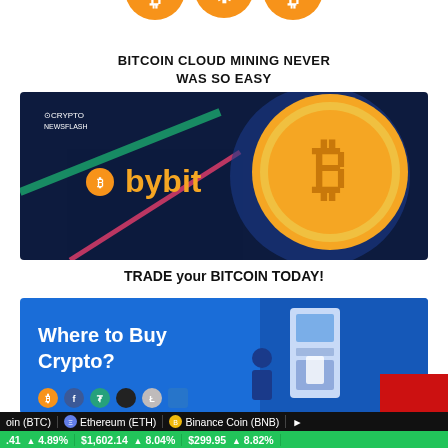[Figure (illustration): Partial image at top showing orange bitcoin-related icons on white background (top portion cropped)]
BITCOIN CLOUD MINING NEVER WAS SO EASY
[Figure (illustration): Bybit advertisement banner with dark blue background, golden Bitcoin coin, and bybit logo with orange/gold text]
TRADE your BITCOIN TODAY!
[Figure (illustration): Blue advertisement banner asking 'Where to Buy Crypto?' with cryptocurrency icons and a person at an ATM machine illustration]
oin (BTC)   Ethereum (ETH)   Binance Coin (BNB)   | .41  ↑ 4.89%   $1,602.14  ↑ 8.04%   $299.95  ↑ 8.82%